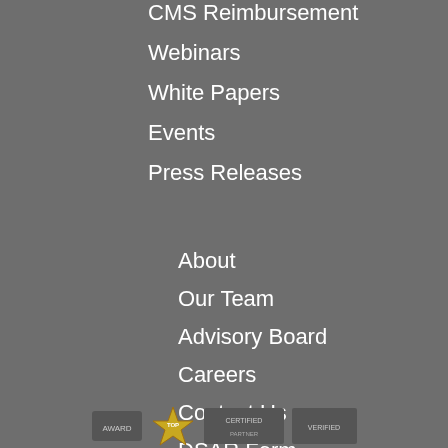CMS Reimbursement
Webinars
White Papers
Events
Press Releases
About
Our Team
Advisory Board
Careers
Contact Us
DSAR Form
Partners
[Figure (other): Row of certification or award badge icons at the bottom of the page]